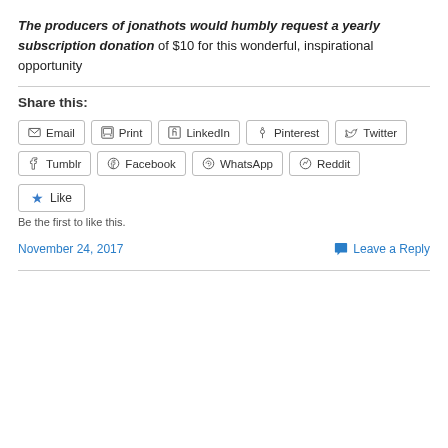The producers of jonathots would humbly request a yearly subscription donation of $10 for this wonderful, inspirational opportunity
Share this:
Email | Print | LinkedIn | Pinterest | Twitter | Tumblr | Facebook | WhatsApp | Reddit
Like
Be the first to like this.
November 24, 2017
Leave a Reply